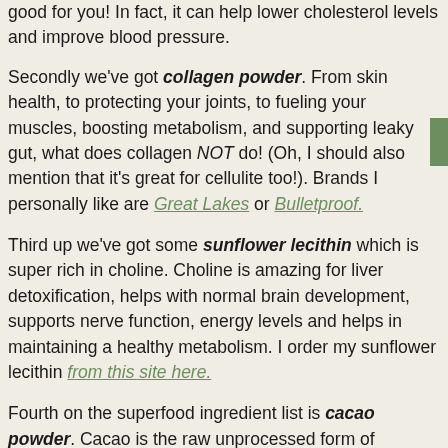good for you! In fact, it can help lower cholesterol levels and improve blood pressure.
Secondly we've got collagen powder. From skin health, to protecting your joints, to fueling your muscles, boosting metabolism, and supporting leaky gut, what does collagen NOT do! (Oh, I should also mention that it's great for cellulite too!). Brands I personally like are Great Lakes or Bulletproof.
Third up we've got some sunflower lecithin which is super rich in choline. Choline is amazing for liver detoxification, helps with normal brain development, supports nerve function, energy levels and helps in maintaining a healthy metabolism. I order my sunflower lecithin from this site here.
Fourth on the superfood ingredient list is cacao powder. Cacao is the raw unprocessed form of chocolate. Like, it's the real stuff. It's loaded with magnesium which an important mineral for detoxification and hormonal health. Brands I like